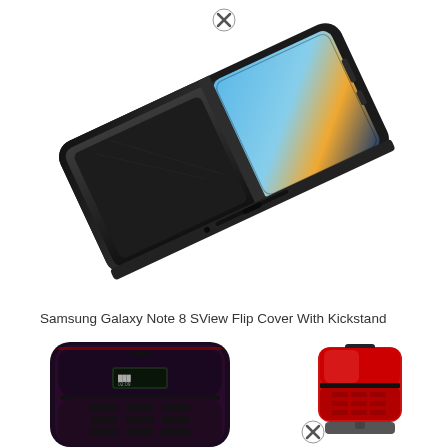[Figure (photo): Samsung Galaxy Note 8 SView Flip Cover with Kickstand shown at an angle, black case open showing the phone screen with blue and orange gradient display. A white circled X button appears at the top.]
Samsung Galaxy Note 8 SView Flip Cover With Kickstand
[Figure (photo): Two flip phones shown side by side at the bottom of the page. Left: a dark navy/red closed flip phone showing a small external display with time 02:09. Right: a red open flip phone on a stand. A white circled X button appears between them at the bottom.]